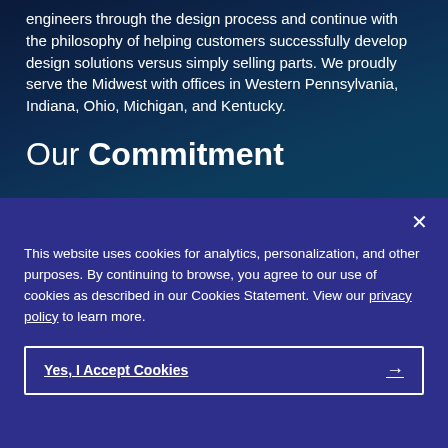engineers through the design process and continue with the philosophy of helping customers successfully develop design solutions versus simply selling parts. We proudly serve the Midwest with offices in Western Pennsylvania, Indiana, Ohio, Michigan, and Kentucky.
Our Commitment
This website uses cookies for analytics, personalization, and other purposes. By continuing to browse, you agree to our use of cookies as described in our Cookies Statement. View our privacy policy to learn more.
Yes, I Accept Cookies →